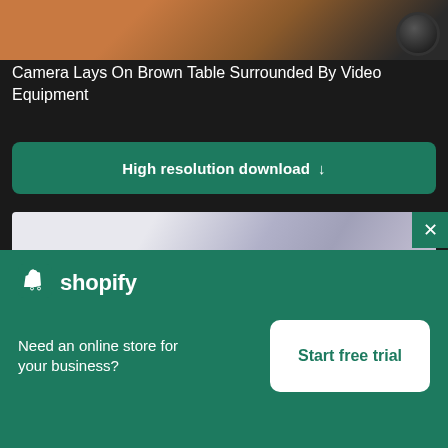[Figure (photo): Top portion of a photo showing a camera laying on a brown table surrounded by video equipment, cropped at the top of the page]
Camera Lays On Brown Table Surrounded By Video Equipment
High resolution download ↓
[Figure (photo): Partially visible second photo showing blurred/out-of-focus image with gray and purple/blue tones, possibly a phone or device on a surface]
×
[Figure (logo): Shopify logo with shopping bag icon and wordmark 'shopify' in white on green background]
Need an online store for your business?
Start free trial